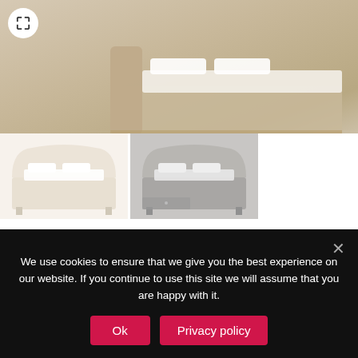[Figure (photo): Main product photo of Crown Bespoke Bed, beige/cream upholstered bed frame close-up with expand icon]
[Figure (photo): Thumbnail 1: White/cream Crown Bespoke Bed full view]
[Figure (photo): Thumbnail 2: Grey Crown Bespoke Bed full view]
Crown Bespoke Bed
£369.00
*Size
We use cookies to ensure that we give you the best experience on our website. If you continue to use this site we will assume that you are happy with it.
Ok
Privacy policy